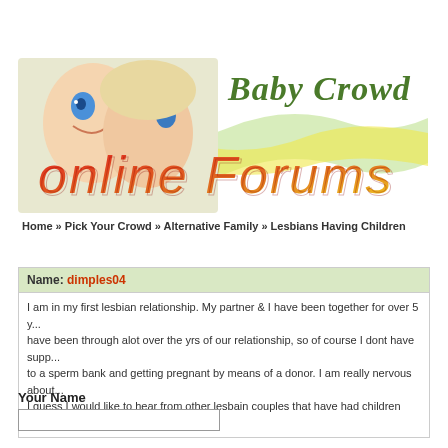[Figure (logo): Baby Crowd Online Forums banner with baby/mother photo, decorative wave design in green and yellow, 'Baby Crowd' in green script, 'online Forums' in red-to-yellow gradient bold text]
Home » Pick Your Crowd » Alternative Family » Lesbians Having Children
Name: dimples04
I am in my first lesbian relationship. My partner & I have been together for over 5 y... have been through alot over the yrs of our relationship, so of course I dont have supp... to a sperm bank and getting pregnant by means of a donor. I am really nervous about... I guess I would like to hear from other lesbain couples that have had children together...
Your Name